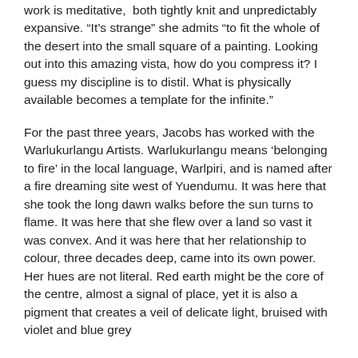work is meditative,  both tightly knit and unpredictably expansive. “It’s strange” she admits “to fit the whole of the desert into the small square of a painting. Looking out into this amazing vista, how do you compress it? I guess my discipline is to distil. What is physically available becomes a template for the infinite.”
For the past three years, Jacobs has worked with the Warlukurlangu Artists. Warlukurlangu means ‘belonging to fire’ in the local language, Warlpiri, and is named after a fire dreaming site west of Yuendumu. It was here that she took the long dawn walks before the sun turns to flame. It was here that she flew over a land so vast it was convex. And it was here that her relationship to colour, three decades deep, came into its own power. Her hues are not literal. Red earth might be the core of the centre, almost a signal of place, yet it is also a pigment that creates a veil of delicate light, bruised with violet and blue grey